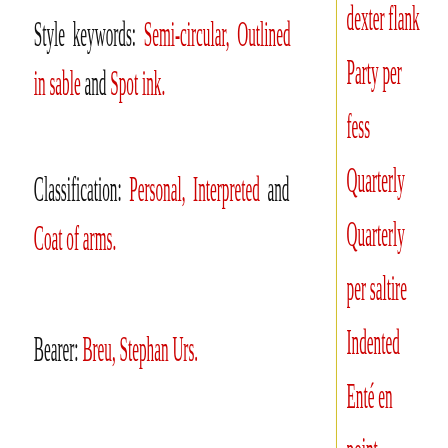Style keywords: Semi-circular, Outlined in sable and Spot ink.
Classification: Personal, Interpreted and Coat of arms.
Bearer: Breu, Stephan Urs.
[Figure (illustration): A coat of arms shield divided quarterly with red and gold lions on contrasting fields, with a decorative banner reading 'castellano' overlaid diagonally.]
dexter flank
Party per fess
Quarterly
Quarterly per saltire
Indented
Enté en point
Flanched
Gyronny
Party per chevron
Party per